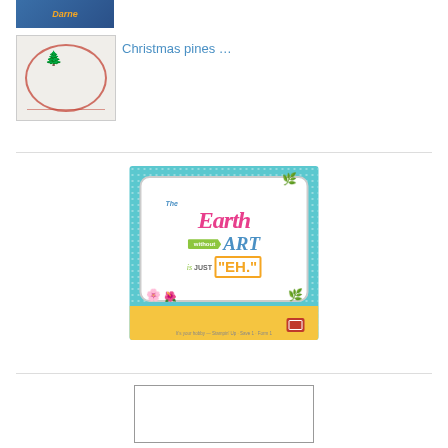[Figure (photo): Small thumbnail image at top left, appears to be a blue and orange craft/name tag image]
[Figure (photo): Christmas pines card image showing a potted pine tree with a red circular frame on white background]
Christmas pines …
[Figure (illustration): Illustrated poster with teal dotted background and white framed center reading 'The Earth without ART is just EH' with colorful decorative elements, flowers, and yellow bottom strip]
[Figure (other): Empty white box with a thin border at the bottom of the page]